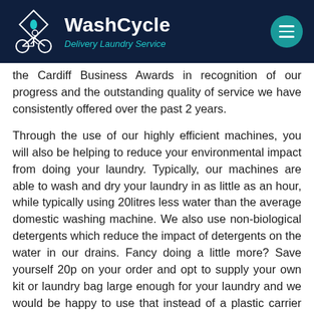WashCycle — Delivery Laundry Service
the Cardiff Business Awards in recognition of our progress and the outstanding quality of service we have consistently offered over the past 2 years.
Through the use of our highly efficient machines, you will also be helping to reduce your environmental impact from doing your laundry. Typically, our machines are able to wash and dry your laundry in as little as an hour, while typically using 20litres less water than the average domestic washing machine. We also use non-biological detergents which reduce the impact of detergents on the water in our drains. Fancy doing a little more? Save yourself 20p on your order and opt to supply your own kit or laundry bag large enough for your laundry and we would be happy to use that instead of a plastic carrier bag!